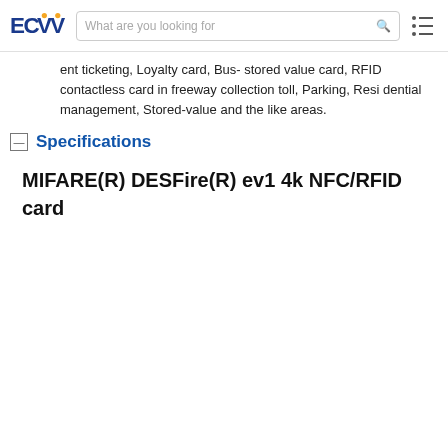ECVV — What are you looking for
ent ticketing, Loyalty card, Bus- stored value card, RFID contactless card in freeway collection toll, Parking, Residential management, Stored-value and the like areas.
Specifications
MIFARE(R) DESFire(R) ev1 4k NFC/RFID card